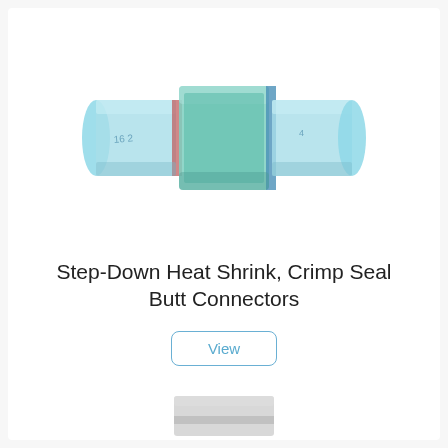[Figure (photo): Photo of a blue heat shrink crimp seal butt connector — a cylindrical tube with transparent blue heat-shrink tubing, showing a green sealant center section with a red ring on the left side and a blue ring on the right side]
Step-Down Heat Shrink, Crimp Seal Butt Connectors
View
[Figure (photo): Partial view of another connector product at the bottom of the page]